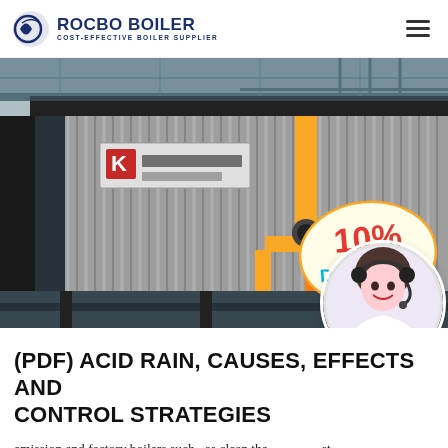ROCBO BOILER — COST-EFFECTIVE BOILER SUPPLIER
[Figure (photo): Industrial gas boiler unit with yellow pipes and corrugated metal casing in a factory setting, with a 10% DISCOUNT badge overlay in the bottom-right corner]
(PDF) ACID RAIN, CAUSES, EFFECTS AND CONTROL STRATEGIES
emission and factory boilers such . as clean the exhaust pipe s. Use . energy efficient boilers and using filters. or scrubber s